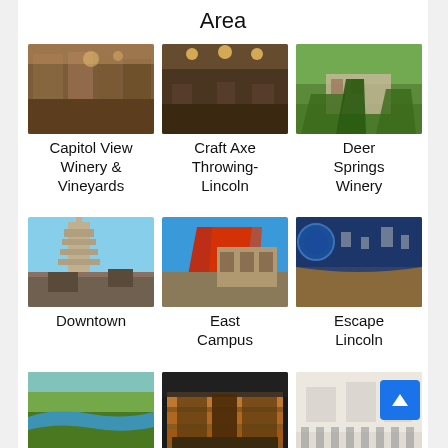Area
[Figure (photo): Capitol View Winery & Vineyards - interior dining area]
Capitol View Winery & Vineyards
[Figure (photo): Craft Axe Throwing-Lincoln - interior space]
Craft Axe Throwing- Lincoln
[Figure (photo): Deer Springs Winery - outdoor trees and building]
Deer Springs Winery
[Figure (photo): Downtown Lincoln - tall tower building]
Downtown
[Figure (photo): East Campus - red leafed tree and building]
East Campus
[Figure (photo): Escape Lincoln - interior room with blue curved wall]
Escape Lincoln
[Figure (photo): Eugene T. Mahoney - aerial view of river and trees]
Eugene T. Mahoney
[Figure (photo): Gateway Mall - modern building exterior at night]
Gateway Mall
[Figure (photo): Great Plains Art Museum - interior gallery with visitors]
Great Plains Art Museum